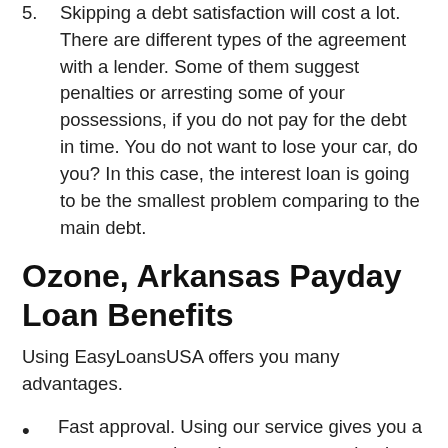5. Skipping a debt satisfaction will cost a lot. There are different types of the agreement with a lender. Some of them suggest penalties or arresting some of your possessions, if you do not pay for the debt in time. You do not want to lose your car, do you? In this case, the interest loan is going to be the smallest problem comparing to the main debt.
Ozone, Arkansas Payday Loan Benefits
Using EasyLoansUSA offers you many advantages.
Fast approval. Using our service gives you a guarantee to deposit your money to bank account within one business day. It does not matter where you live. We quickly process all your data and bank